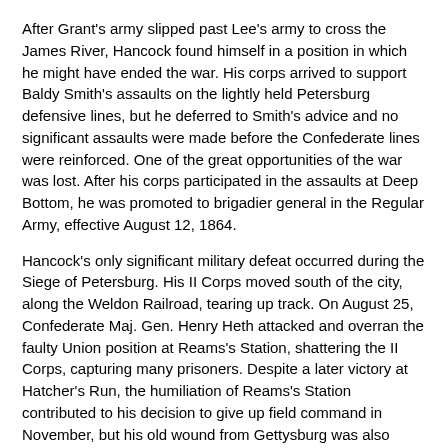After Grant's army slipped past Lee's army to cross the James River, Hancock found himself in a position in which he might have ended the war. His corps arrived to support Baldy Smith's assaults on the lightly held Petersburg defensive lines, but he deferred to Smith's advice and no significant assaults were made before the Confederate lines were reinforced. One of the great opportunities of the war was lost. After his corps participated in the assaults at Deep Bottom, he was promoted to brigadier general in the Regular Army, effective August 12, 1864.
Hancock's only significant military defeat occurred during the Siege of Petersburg. His II Corps moved south of the city, along the Weldon Railroad, tearing up track. On August 25, Confederate Maj. Gen. Henry Heth attacked and overran the faulty Union position at Reams's Station, shattering the II Corps, capturing many prisoners. Despite a later victory at Hatcher's Run, the humiliation of Reams's Station contributed to his decision to give up field command in November, but his old wound from Gettysburg was also causing him distress. He left the II Corps after a year in which it had suffered over 40,000 casualties, but had achieved significant military victories. His first assignment was to command the ceremonial First Veterans Corps. He performed more recruiting, commanded the Middle Department, and relieved Maj. Gen. Philip Sheridan in command of forces in the now-quiet Shenandoah Valley. He was promoted to brevet major general in the Regular Army for his service at Spotsylvania, effective March 13, 1865.